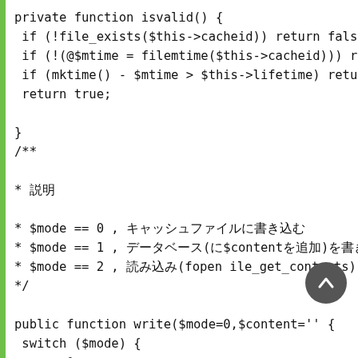private function isvalid() {
 if (!file_exists($this->cacheid)) return false;
 if (!(@$mtime = filemtime($this->cacheid))) r
 if (mktime() - $mtime > $this->lifetime) return
 return true;
}
/**
* 説明
* $mode == 0 , キャッシュファイルに書き込む
* $mode == 1 , データベース(に$contentを追加)を書き込む
* $mode == 2 , 読み込み(fopen ile_get_contents)
*/
public function write($mode=0,$content='' {
 switch ($mode) {
  case 0: